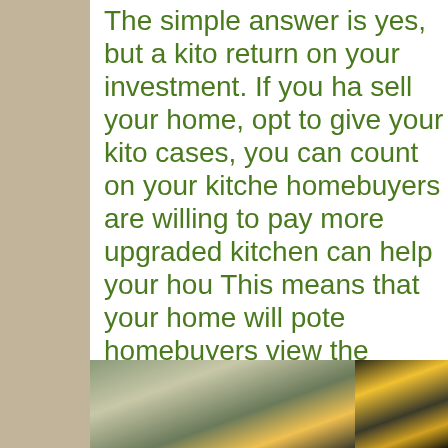The simple answer is yes, but a kito return on your investment. If you ha sell your home, opt to give your kito cases, you can count on your kitche homebuyers are willing to pay more upgraded kitchen can help your hou This means that your home will pote homebuyers view the kitchen as the this space is worth the money. Addi features, including specialty cabinet
[Figure (photo): Two photos side by side showing construction/renovation tools including yellow power tools, likely nail guns or drills, on a work surface]